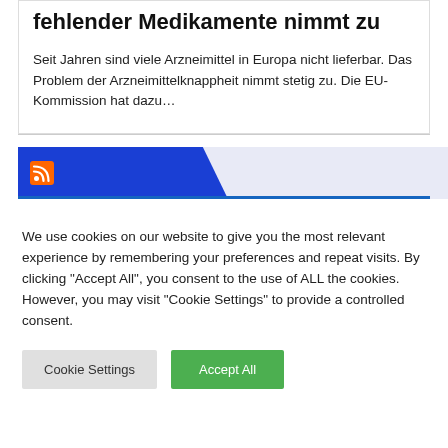fehlender Medikamente nimmt zu
Seit Jahren sind viele Arzneimittel in Europa nicht lieferbar. Das Problem der Arzneimittelknappheit nimmt stetig zu. Die EU-Kommission hat dazu…
[Figure (other): RSS feed icon bar with blue angled banner and RSS orange icon]
We use cookies on our website to give you the most relevant experience by remembering your preferences and repeat visits. By clicking "Accept All", you consent to the use of ALL the cookies. However, you may visit "Cookie Settings" to provide a controlled consent.
Cookie Settings   Accept All